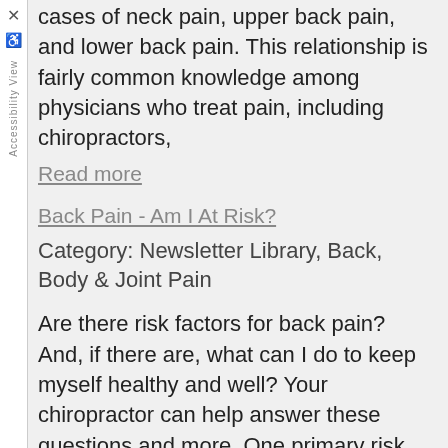cases of neck pain, upper back pain, and lower back pain. This relationship is fairly common knowledge among physicians who treat pain, including chiropractors,
Read more
Back Pain - Am I At Risk?
Category: Newsletter Library, Back, Body & Joint Pain
Are there risk factors for back pain? And, if there are, what can I do to keep myself healthy and well? Your chiropractor can help answer these questions and more. One primary risk factor relates to exercise. Everyone has heard, "if you don't use it,